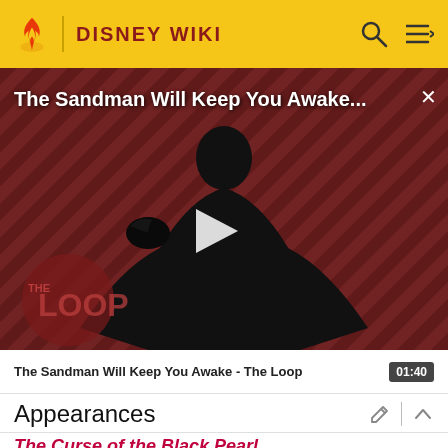DISNEY WIKI
[Figure (screenshot): Video player showing 'The Sandman Will Keep You Awake...' with a dark-clothed figure against a red diagonal striped background, The Loop logo in the lower left, and a play button in the center]
The Sandman Will Keep You Awake - The Loop    01:40
Appearances
The Curse of the Black Pearl